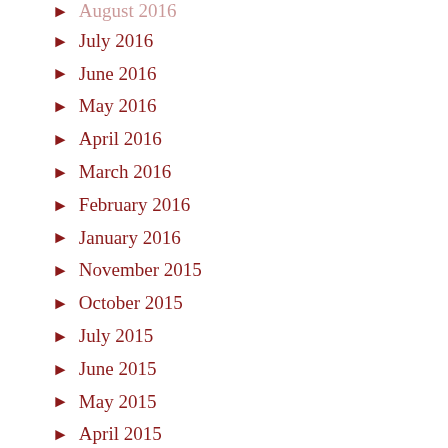▶ August 2016 (partial/cut off)
▶ July 2016
▶ June 2016
▶ May 2016
▶ April 2016
▶ March 2016
▶ February 2016
▶ January 2016
▶ November 2015
▶ October 2015
▶ July 2015
▶ June 2015
▶ May 2015
▶ April 2015
▶ March 2015